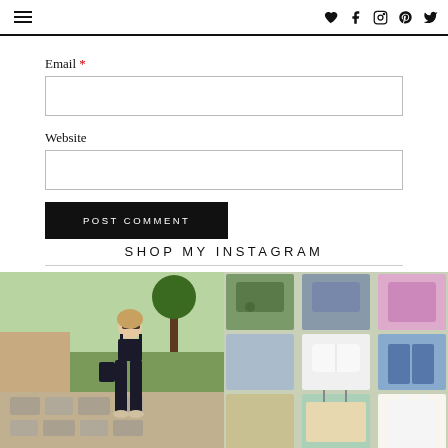Navigation header with hamburger menu and social icons
Email *
Website
POST COMMENT
SHOP MY INSTAGRAM
[Figure (photo): Fashion blogger standing outdoors in black crop top and wide-leg pants on cobblestone path]
[Figure (photo): Collage of summer clothing items including green, blue, pink and white outfits and shorts]